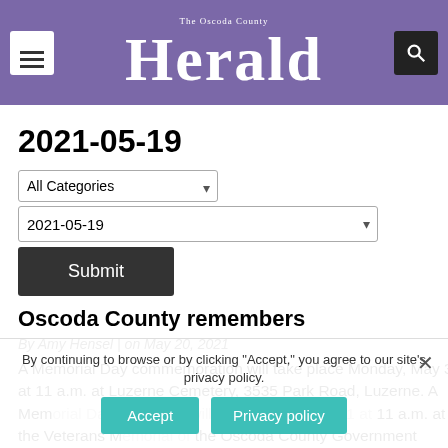The Oscoda County Herald
2021-05-19
All Categories | 2021-05-19 | Submit
Oscoda County remembers
By Amy Hensel | on May 20, 2021
A Memorial Day commemoration will take place Monday, May 31 at 11 a.m. at Luzerne Cemetery, 3535 Park Road, Luzerne. A Memorial Day ceremony will also be held May 31 at 11 a.m. at the Veterans Memorial of the Oscoda County Government Building, 311 S. Morenci Avenue, Mio.
By continuing to browse or by clicking "Accept," you agree to our site's privacy policy.
Accept | Privacy policy